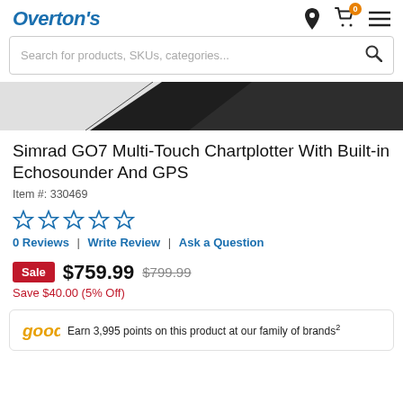Overton's
Search for products, SKUs, categories...
[Figure (photo): Partial view of a Simrad GO7 chartplotter device showing the dark bezel/screen edge against a white background]
Simrad GO7 Multi-Touch Chartplotter With Built-in Echosounder And GPS
Item #: 330469
0 star rating (5 empty stars displayed)
0 Reviews | Write Review | Ask a Question
Sale $759.99  $799.99  Save $40.00 (5% Off)
Earn 3,995 points on this product at our family of brands 2